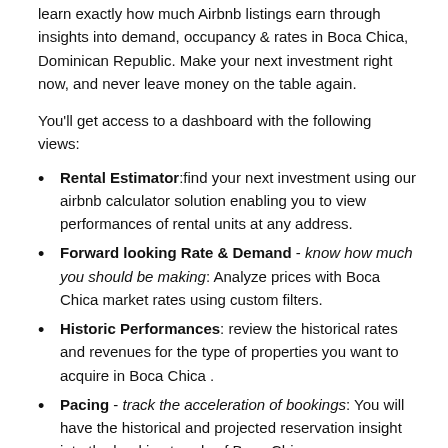learn exactly how much Airbnb listings earn through insights into demand, occupancy & rates in Boca Chica, Dominican Republic. Make your next investment right now, and never leave money on the table again.
You'll get access to a dashboard with the following views:
Rental Estimator: find your next investment using our airbnb calculator solution enabling you to view performances of rental units at any address.
Forward looking Rate & Demand - know how much you should be making: Analyze prices with Boca Chica market rates using custom filters.
Historic Performances: review the historical rates and revenues for the type of properties you want to acquire in Boca Chica .
Pacing - track the acceleration of bookings: You will have the historical and projected reservation insight into the booking trends of Boca Chica.
Competitive Landscape: view competitor inventory,